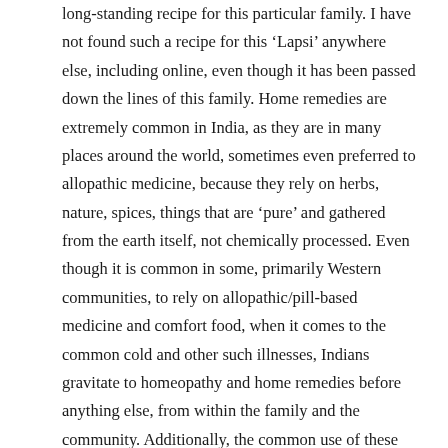long-standing recipe for this particular family. I have not found such a recipe for this ‘Lapsi’ anywhere else, including online, even though it has been passed down the lines of this family. Home remedies are extremely common in India, as they are in many places around the world, sometimes even preferred to allopathic medicine, because they rely on herbs, nature, spices, things that are ‘pure’ and gathered from the earth itself, not chemically processed. Even though it is common in some, primarily Western communities, to rely on allopathic/pill-based medicine and comfort food, when it comes to the common cold and other such illnesses, Indians gravitate to homeopathy and home remedies before anything else, from within the family and the community. Additionally, the common use of these hot soups and drinks makes sense, since they automatically would warm the body from the inside and cause relief from the cold.